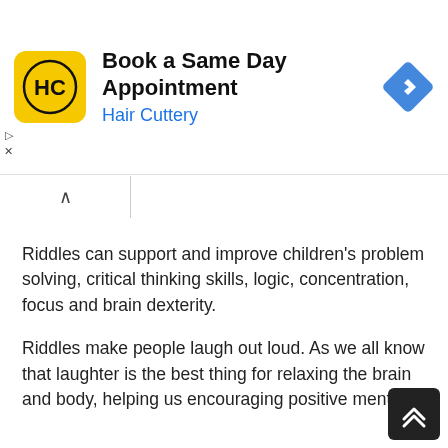[Figure (screenshot): Hair Cuttery advertisement banner: yellow logo with HC letters, headline 'Book a Same Day Appointment', subtext 'Hair Cuttery' in blue, blue diamond navigation icon on right]
Riddles can support and improve children's problem solving, critical thinking skills, logic, concentration, focus and brain dexterity.
Riddles make people laugh out loud. As we all know that laughter is the best thing for relaxing the brain and body, helping us encouraging positive mental